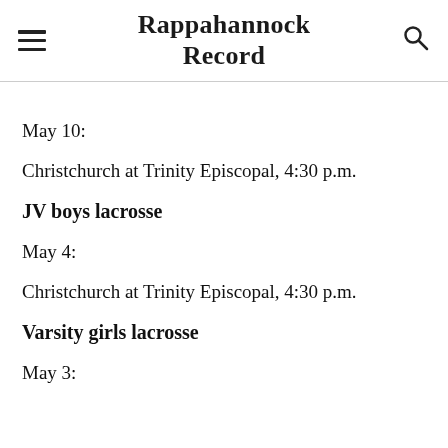Rappahannock Record
May 10:
Christchurch at Trinity Episcopal, 4:30 p.m.
JV boys lacrosse
May 4:
Christchurch at Trinity Episcopal, 4:30 p.m.
Varsity girls lacrosse
May 3: